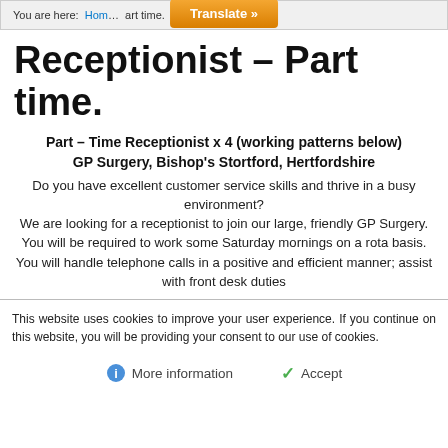You are here: Home ... art time.
Receptionist – Part time.
Part – Time Receptionist x 4 (working patterns below)
GP Surgery, Bishop's Stortford, Hertfordshire
Do you have excellent customer service skills and thrive in a busy environment? We are looking for a receptionist to join our large, friendly GP Surgery. You will be required to work some Saturday mornings on a rota basis. You will handle telephone calls in a positive and efficient manner; assist with front desk duties
This website uses cookies to improve your user experience. If you continue on this website, you will be providing your consent to our use of cookies.
More information   Accept